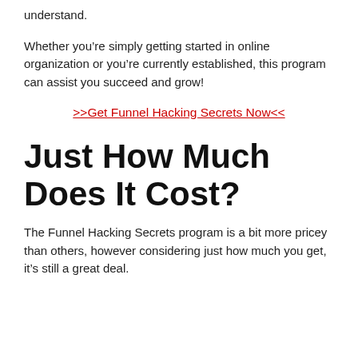understand.
Whether you’re simply getting started in online organization or you’re currently established, this program can assist you succeed and grow!
>>Get Funnel Hacking Secrets Now<<
Just How Much Does It Cost?
The Funnel Hacking Secrets program is a bit more pricey than others, however considering just how much you get, it’s still a great deal.